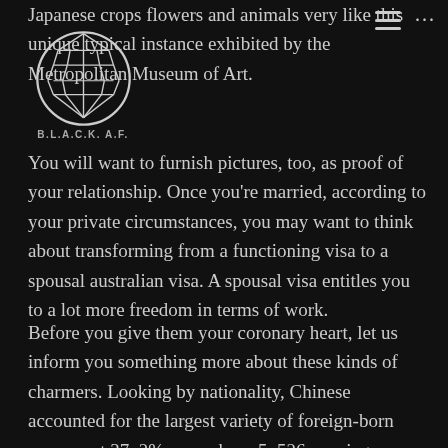[Figure (logo): Black circular logo with geometric faceted design (Wakanda-style shield or similar), with text B.L.A.C.K. A.F. below it]
Japanese crops flowers and animals very like this unique typical instance exhibited by the Metropolitan Museum of Art.
You will want to furnish pictures, too, as proof of your relationship. Once you're married, according to your private circumstances, you may want to think about transforming from a functioning visa to a spousal australian visa. A spousal visa entitles you to a lot more freedom in terms of work.
Before you give them your coronary heart, let us inform you something more about these kinds of charmers. Looking by nationality, Chinese accounted for the largest variety of foreign-born spouses at 37. 2%, or perhaps 5, 526 marriages, followed by Filipinas in 22. seven percent, or a few. 371 unions. Korean